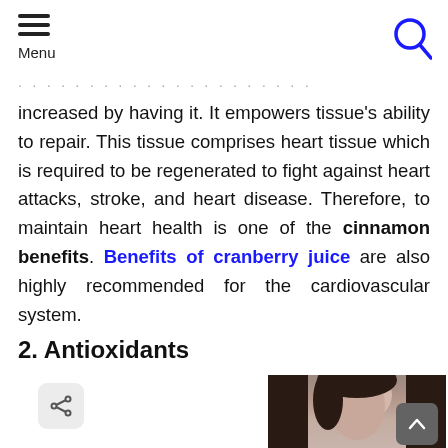Menu
increased by having it. It empowers tissue's ability to repair. This tissue comprises heart tissue which is required to be regenerated to fight against heart attacks, stroke, and heart disease. Therefore, to maintain heart health is one of the cinnamon benefits. Benefits of cranberry juice are also highly recommended for the cardiovascular system.
2. Antioxidants
[Figure (photo): Photo of a woman with dark hair, partially visible, center of page below section header. A share button icon appears on the left side. A scroll-to-top button appears in the bottom right corner.]